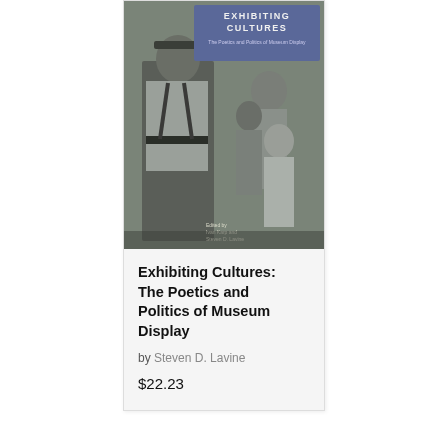[Figure (photo): Book cover of 'Exhibiting Cultures: The Poetics and Politics of Museum Display' edited by Ivan Karp and Steven D. Lavine. Black and white photograph showing a man in military-style shirt and hat, with women and children in background. Title text in blue/purple box at top of cover.]
Exhibiting Cultures: The Poetics and Politics of Museum Display
by Steven D. Lavine
$22.23